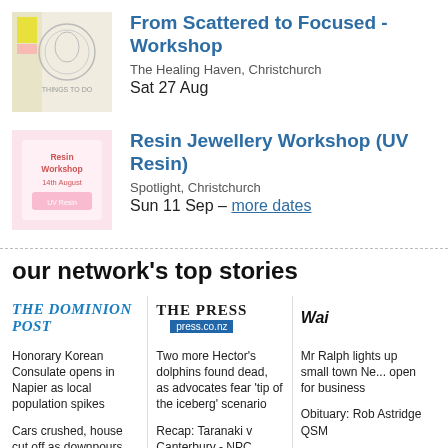[Figure (photo): Thumbnail image for From Scattered to Focused Workshop event]
From Scattered to Focused - Workshop
The Healing Haven, Christchurch
Sat 27 Aug
[Figure (photo): Thumbnail image for Resin Jewellery Workshop (UV Resin) event]
Resin Jewellery Workshop (UV Resin)
Spotlight, Christchurch
Sun 11 Sep – more dates
our network's top stories
[Figure (logo): The Dominion Post logo]
Honorary Korean Consulate opens in Napier as local population spikes
Cars crushed, house cut off as downpours cause slips, road closures in Wellington
Wellington police appeal for help finding wanted man
Te Hīkoi Toi: Finding the fine art in photography
The election is only the second
[Figure (logo): The Press / press.co.nz logo]
Two more Hector's dolphins found dead, as advocates fear 'tip of the iceberg' scenario
Recap: Taranaki v Canterbury - NPC
Bush hideaway on West Coast references a historic goldmining hut
Explained: Staffing and funding woes an early lesson in mega-polytech experiment
[Figure (logo): Wai (partial) newspaper logo]
Mr Ralph lights up small town NZ, open for business
Obituary: Rob Astridge QSM
Explained: Staffing and funding woes an early lesson in mega-polytech expe...
'The skin of th...
Taking the ha...